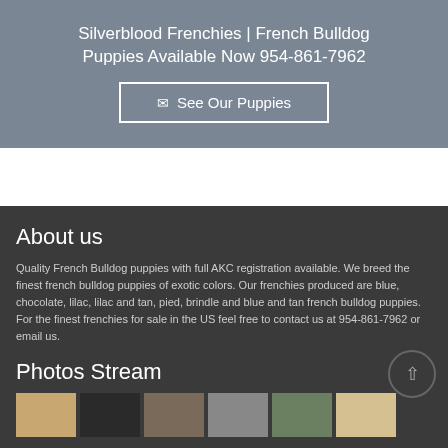Silverblood Frenchies | French Bulldog Puppies Available Now 954-861-7962
See Our Puppies
About us
Quality French Bulldog puppies with full AKC registration available. We breed the finest french bulldog puppies of exotic colors. Our frenchies produced are blue, chocolate, lilac, lilac and tan, pied, brindle and blue and tan french bulldog puppies. For the finest frenchies for sale in the US feel free to contact us at 954-861-7962 or email us.
Photos Stream
[Figure (photo): Row of French Bulldog puppy thumbnail photos]